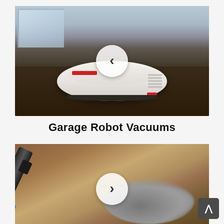[Figure (photo): A white robot vacuum cleaner photographed from the side on a dark wooden floor, with a blurred indoor background. A navigation circle with a left-pointing chevron arrow is overlaid on the center of the image.]
Garage Robot Vacuums
[Figure (photo): A close-up of a vacuum cleaner head with a blue base being used to clean a large pile of grey pet hair/fur on a wooden floor. A navigation circle with a right-pointing chevron arrow is overlaid on the center of the image.]